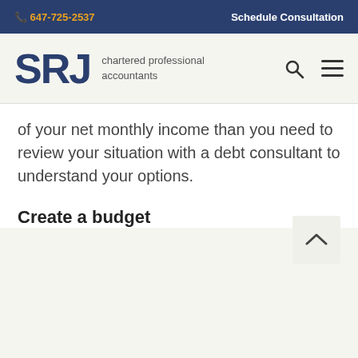647-725-2537  Schedule Consultation
SRJ chartered professional accountants
of your net monthly income than you need to review your situation with a debt consultant to understand your options.
Create a budget